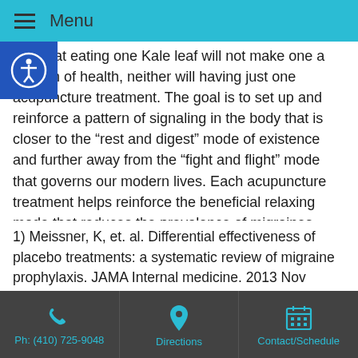Menu
way that eating one Kale leaf will not make one a beacon of health, neither will having just one acupuncture treatment. The goal is to set up and reinforce a pattern of signaling in the body that is closer to the “rest and digest” mode of existence and further away from the “fight and flight” mode that governs our modern lives. Each acupuncture treatment helps reinforce the beneficial relaxing mode that reduces the prevalence of migraines.
1) Meissner, K, et. al. Differential effectiveness of placebo treatments: a systematic review of migraine prophylaxis. JAMA Internal medicine. 2013 Nov
Ph: (410) 725-9048 | Directions | Contact/Schedule